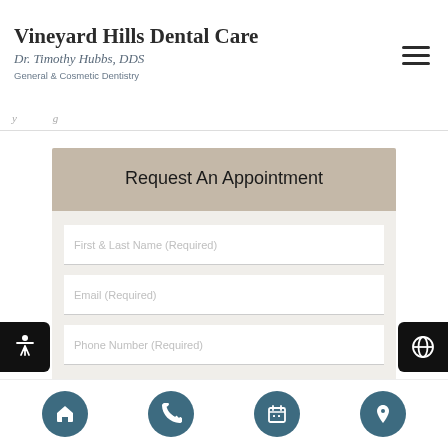Vineyard Hills Dental Care
Dr. Timothy Hubbs, DDS
General & Cosmetic Dentistry
Request An Appointment
First & Last Name (Required)
Email (Required)
Phone Number (Required)
How Did You Hear About Us?